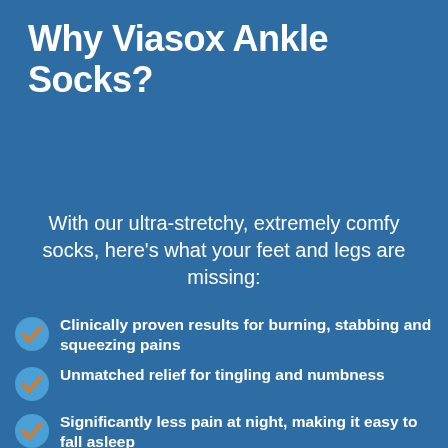Why Viasox Ankle Socks?
With our ultra-stretchy, extremely comfy socks, here's what your feet and legs are missing:
Clinically proven results for burning, stabbing and squeezing pains
Unmatched relief for tingling and numbness
Significantly less pain at night, making it easy to fall asleep